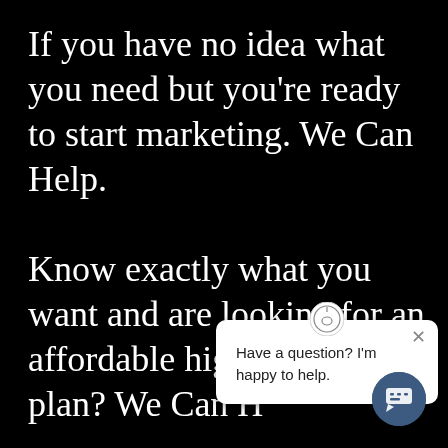If you have no idea what you need but you're ready to start marketing. We Can Help.

Know exactly what you want and are looking for an affordable high-quality plan? We Can Help.
[Figure (screenshot): A chat widget popup with a circular icon at the top, a close X button, and text reading 'Have a question? I'm happy to help.']